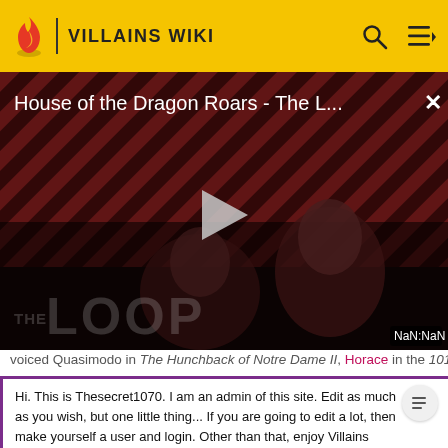VILLAINS WIKI
[Figure (screenshot): Video player showing 'House of the Dragon Roars - The L...' with THE LOOP branding, a play button, and NaN:NaN timestamp overlay]
voiced Quasimodo in The Hunchback of Notre Dame II, Horace in the 101 Dalmatians franchise, Snow Miser in T
Hi. This is Thesecret1070. I am an admin of this site. Edit as much as you wish, but one little thing... If you are going to edit a lot, then make yourself a user and login. Other than that, enjoy Villains Wiki!!!